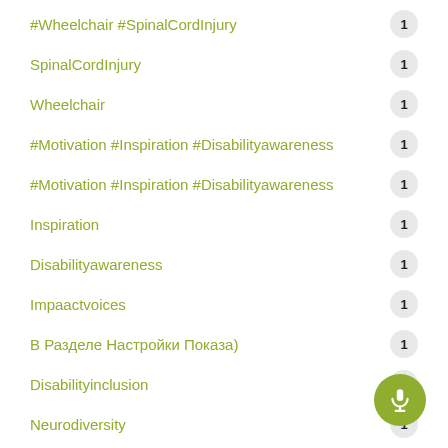#Wheelchair #SpinalCordInjury   1
SpinalCordInjury   1
Wheelchair   1
#Motivation #Inspiration #Disabilityawareness   1
#Motivation #Inspiration #Disabilityawareness   1
Inspiration   1
Disabilityawareness   1
Impaactvoices   1
В Разделе Настройки Показа)   1
Disabilityinclusion   1
Neurodiversity   1